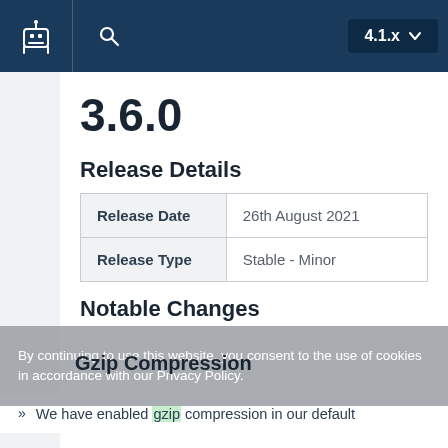4.1.x
3.6.0
Release Details
|  |  |
| --- | --- |
| Release Date | 26th August 2021 |
| Release Type | Stable - Minor |
Notable Changes
Gzip Compression
By continuing to use this website, you consent to the use of cookies in accordance with our Privacy Policy.
We have enabled gzip compression in our default